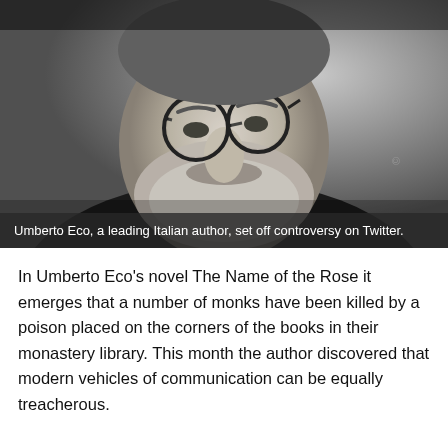[Figure (photo): Black and white close-up photo of a bearded man wearing glasses, looking slightly downward. The photo is cropped to show the face and upper shoulders.]
Umberto Eco, a leading Italian author, set off controversy on Twitter.
In Umberto Eco's novel The Name of the Rose it emerges that a number of monks have been killed by a poison placed on the corners of the books in their monastery library. This month the author discovered that modern vehicles of communication can be equally treacherous.
On receiving an honorary degree in "Communications and media culture" from Turin University, Eco warned against the unreliability of much of the information carried on Internet